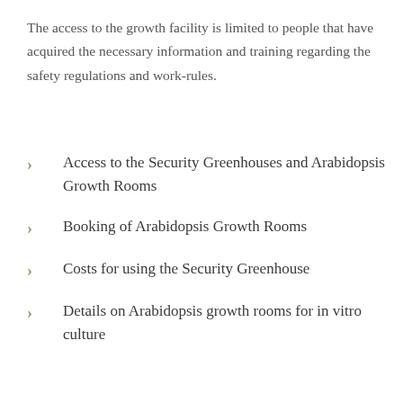The access to the growth facility is limited to people that have acquired the necessary information and training regarding the safety regulations and work-rules.
Access to the Security Greenhouses and Arabidopsis Growth Rooms
Booking of Arabidopsis Growth Rooms
Costs for using the Security Greenhouse
Details on Arabidopsis growth rooms for in vitro culture